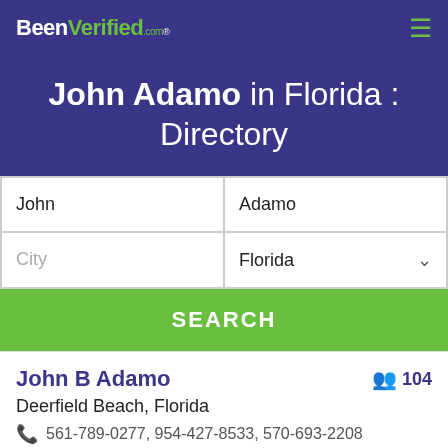BeenVerified.com
John Adamo in Florida : Directory
| First Name | Last Name | City | State |
| --- | --- | --- | --- |
| John | Adamo | City | Florida |
SEARCH
John B Adamo — 104
Deerfield Beach, Florida
561-789-0277, 954-427-8533, 570-693-2208